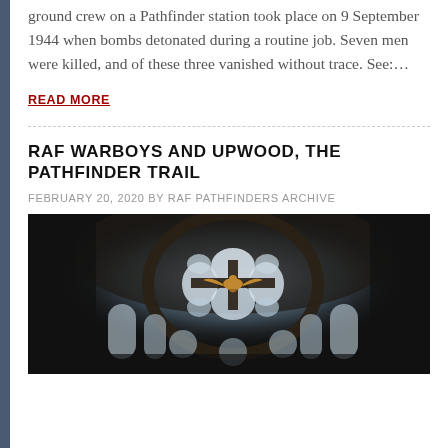ground crew on a Pathfinder station took place on 9 September 1944 when bombs detonated during a routine job. Seven men were killed, and of these three vanished without trace. See:...
READ MORE
RAF WARBOYS AND UPWOOD, THE PATHFINDER TRAIL
FEBRUARY 20, 2020 BY RAF PATHFINDERS ARCHIVE
[Figure (photo): Dark interior photograph of a Gothic stained glass rose window with a bird (eagle) motif in the center, light streaming through the glass panels, dark stone tracery visible]